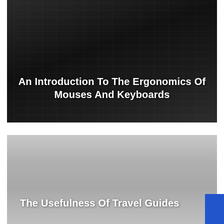[Figure (photo): Dark keyboard background with dark overlay, serving as card image for article about ergonomics]
An Introduction To The Ergonomics Of Mouses And Keyboards
[Figure (photo): Light silver/grey gradient background serving as card image for travel guides article]
The Usefulness Of Travel Guides